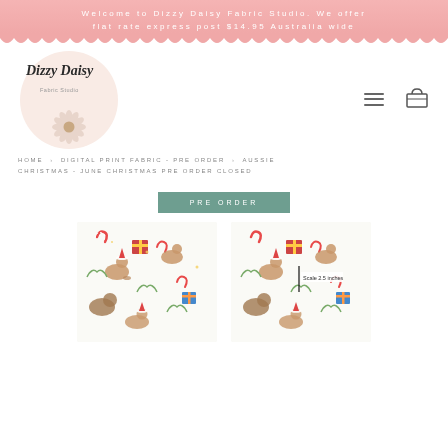Welcome to Dizzy Daisy Fabric Studio. We offer flat rate express post $14.95 Australia wide
[Figure (logo): Dizzy Daisy Fabric Studio logo — circular pink background with cursive script and a daisy flower illustration]
HOME > DIGITAL PRINT FABRIC - PRE ORDER > AUSSIE CHRISTMAS - JUNE CHRISTMAS PRE ORDER CLOSED
PRE ORDER
[Figure (photo): Fabric swatch showing Aussie Christmas pattern — kangaroos, wombats, candy canes, gifts on white background]
[Figure (photo): Same Aussie Christmas fabric pattern with scale indicator showing 2.5 inches]